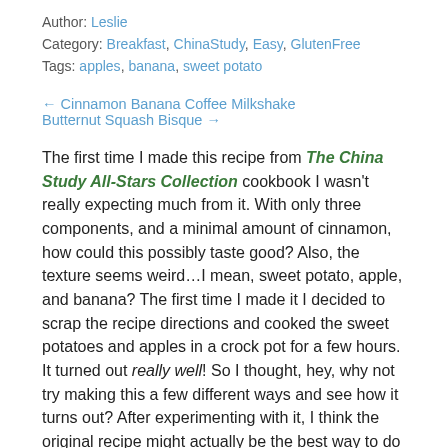Author: Leslie
Category: Breakfast, ChinaStudy, Easy, GlutenFree
Tags: apples, banana, sweet potato
← Cinnamon Banana Coffee Milkshake
Butternut Squash Bisque →
The first time I made this recipe from The China Study All-Stars Collection cookbook I wasn't really expecting much from it. With only three components, and a minimal amount of cinnamon, how could this possibly taste good? Also, the texture seems weird…I mean, sweet potato, apple, and banana? The first time I made it I decided to scrap the recipe directions and cooked the sweet potatoes and apples in a crock pot for a few hours. It turned out really well! So I thought, hey, why not try making this a few different ways and see how it turns out? After experimenting with it, I think the original recipe might actually be the best way to do it. The crock pot version gives